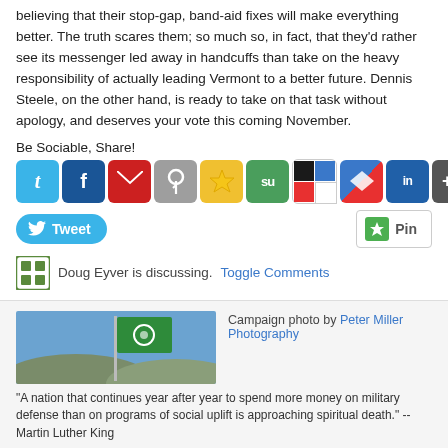believing that their stop-gap, band-aid fixes will make everything better. The truth scares them; so much so, in fact, that they'd rather see its messenger led away in handcuffs than take on the heavy responsibility of actually leading Vermont to a better future. Dennis Steele, on the other hand, is ready to take on that task without apology, and deserves your vote this coming November.
Be Sociable, Share!
[Figure (infographic): Row of social media share buttons: Twitter (t), Facebook (f), Email (envelope), Pinterest (pin), Bookmark (star), StumbleUpon (su), Delicious (squares), Digg (arrow), LinkedIn (in), and a MORE button]
[Figure (infographic): Tweet button and Pin button side by side]
Doug Eyver is discussing. Toggle Comments
← Older Posts | Newer Posts →
[Figure (photo): Green flag with white emblem on a flagpole against a blue sky with hills in background]
Campaign photo by Peter Miller Photography
"A nation that continues year after year to spend more money on military defense than on programs of social uplift is approaching spiritual death." -- Martin Luther King